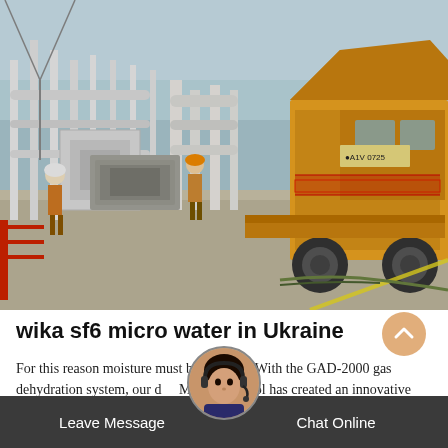[Figure (photo): Industrial electrical substation scene with white pipe structures and equipment on the left, and a large yellow specialized truck/vehicle on the right side. Workers in safety gear visible in background. Concrete pavement in foreground.]
wika sf6 micro water in Ukraine
For this reason moisture must be reduced! With the GAD-2000 gas dehydration system, our d Mobile Control has created an innovative application together with our company. It reduces